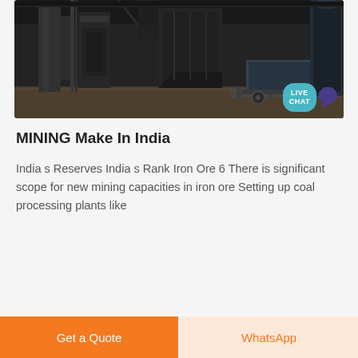[Figure (photo): Interior of a mining/industrial facility showing heavy machinery, equipment, conveyor structures, and a cart/trolley on rails, in a dark industrial setting. A 'LIVE CHAT' bubble with speech icon is overlaid in the bottom-right corner.]
MINING Make In India
India s Reserves India s Rank Iron Ore 6 There is significant scope for new mining capacities in iron ore Setting up coal processing plants like